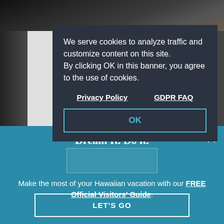[Figure (screenshot): Dark photo strip at top of page showing an animal (possibly a seal or sea lion) in a natural setting, partially obscured by a cookie consent modal]
Fr... su... ac... se... family in the Hawaiian Islands.
We serve cookies to analyze traffic and customize content on this site. By clicking OK in this banner, you agree to the use of cookies.
Privacy Policy    GDPR FAQ
OK
Dream It. Do it.
Make the most of your Hawaiian vacation with our FREE Official Visitors' Guide.
LET'S GO